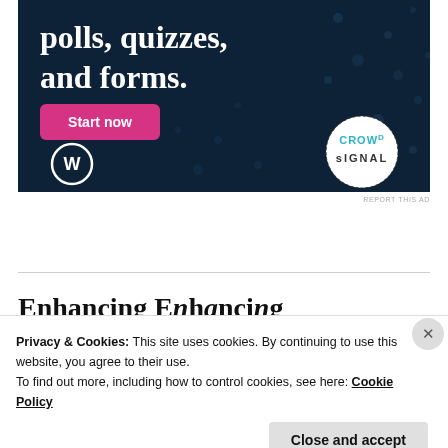[Figure (advertisement): Dark navy blue advertisement banner with white bold text reading 'polls, quizzes, and forms.' A pink 'Start now' button, WordPress logo (bottom left), and Crowdsignal circular badge (bottom right) on a dotted background.]
REPORT THIS AD
Enhancing User...
Privacy & Cookies: This site uses cookies. By continuing to use this website, you agree to their use. To find out more, including how to control cookies, see here: Cookie Policy
Close and accept